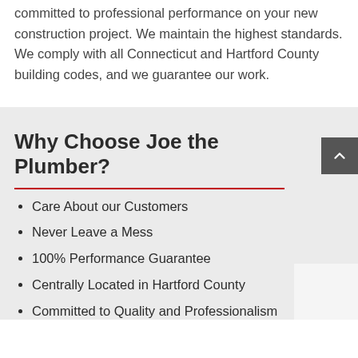committed to professional performance on your new construction project. We maintain the highest standards. We comply with all Connecticut and Hartford County building codes, and we guarantee our work.
Why Choose Joe the Plumber?
Care About our Customers
Never Leave a Mess
100% Performance Guarantee
Centrally Located in Hartford County
Committed to Quality and Professionalism